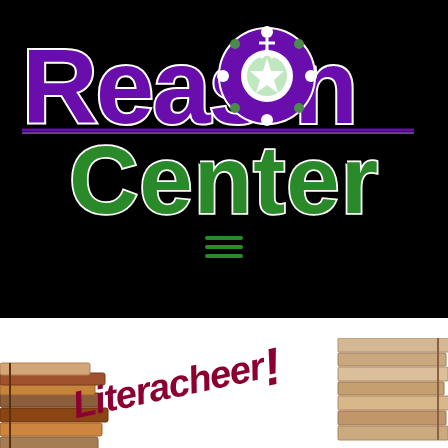[Figure (logo): Reason Center logo with large purple 'Reason' text, a circular snowflake/people icon replacing the 'o' in Reason, and green 'Center' text below on a black background. A hamburger menu icon in green appears below the logo.]
[Figure (illustration): White background section showing stacked books on left and right edges, with italic dark red/maroon text reading 'Literacheer!' in a diagonal orientation across the center bottom of the page.]